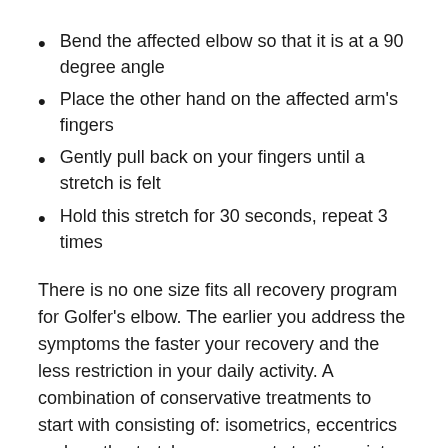Bend the affected elbow so that it is at a 90 degree angle
Place the other hand on the affected arm's fingers
Gently pull back on your fingers until a stretch is felt
Hold this stretch for 30 seconds, repeat 3 times
There is no one size fits all recovery program for Golfer's elbow. The earlier you address the symptoms the faster your recovery and the less restriction in your daily activity. A combination of conservative treatments to start with consisting of: isometrics, eccentrics and gentle stretches are great starting points. If you are still having trouble tackling the